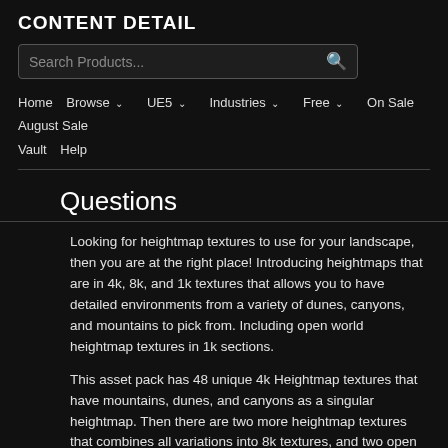CONTENT DETAIL
[Figure (other): Search bar with text 'Search Products...' and a search icon]
Home  Browse  UE5  Industries  Free  On Sale  August Sale  Vault  Help
Questions
Looking for heightmap textures to use for your landscape, then you are at the right place! Introducing heightmaps that are in 4k, 8k, and 1k textures that allows you to have detailed environments from a variety of dunes, canyons, and mountains to pick from. Including open world heightmap textures in 1k sections.
This asset pack has 48 unique 4k Heightmap textures that have mountains, dunes, and canyons as a singular heightmap. Then there are two more heightmap textures that combines all variations into 8k textures, and two open world heightmap textures that have 1k